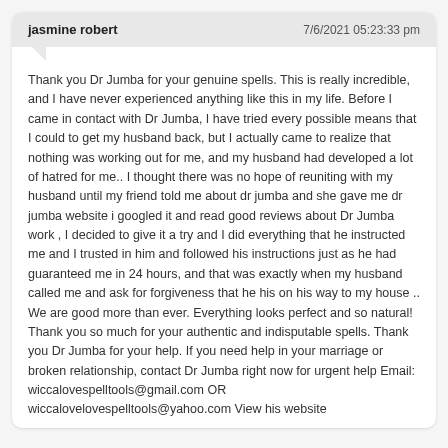jasmine robert   7/6/2021 05:23:33 pm
Thank you Dr Jumba for your genuine spells. This is really incredible, and I have never experienced anything like this in my life. Before I came in contact with Dr Jumba, I have tried every possible means that I could to get my husband back, but I actually came to realize that nothing was working out for me, and my husband had developed a lot of hatred for me.. I thought there was no hope of reuniting with my husband until my friend told me about dr jumba and she gave me dr jumba website i googled it and read good reviews about Dr Jumba work , I decided to give it a try and I did everything that he instructed me and I trusted in him and followed his instructions just as he had guaranteed me in 24 hours, and that was exactly when my husband called me and ask for forgiveness that he his on his way to my house .. We are good more than ever. Everything looks perfect and so natural! Thank you so much for your authentic and indisputable spells. Thank you Dr Jumba for your help. If you need help in your marriage or broken relationship, contact Dr Jumba right now for urgent help Email: wiccalovespelltools@gmail.com OR wiccalovelovespelltools@yahoo.com View his website